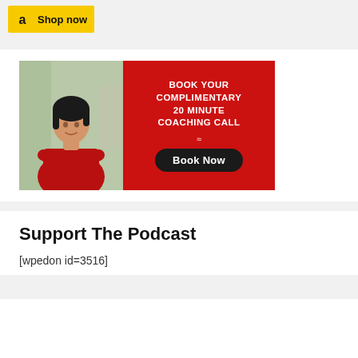[Figure (other): Amazon 'Shop now' yellow button with Amazon logo]
[Figure (photo): Promotional banner: Asian woman in red turtleneck with arms crossed on left half, red background on right with white bold text 'BOOK YOUR COMPLIMENTARY 20 MINUTE COACHING CALL' and a dark oval 'Book Now' button]
Support The Podcast
[wpedon id=3516]